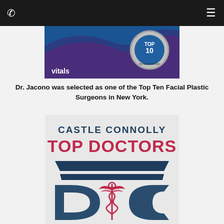phone icon | menu icon
[Figure (photo): Vitals Top 10 Patients Rated badge/award image on purple background with 'vitals' text]
Dr. Jacono was selected as one of the Top Ten Facial Plastic Surgeons in New York.
[Figure (logo): Castle Connolly Top Doctors logo with caduceus symbol and stylized CC letters in dark blue and crimson red]